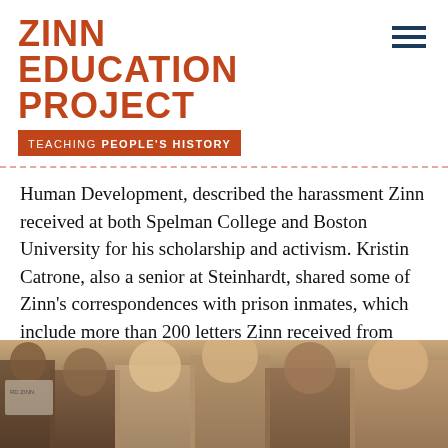ZINN EDUCATION PROJECT — TEACHING PEOPLE'S HISTORY
Human Development, described the harassment Zinn received at both Spelman College and Boston University for his scholarship and activism. Kristin Catrone, also a senior at Steinhardt, shared some of Zinn's correspondences with prison inmates, which include more than 200 letters Zinn received from prisoners throughout his lifetime.
[Figure (photo): Group photo of several people including men and women smiling at an event, partially cropped at bottom of page]